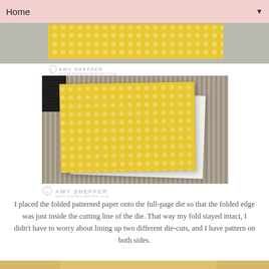Home
[Figure (photo): Partial view of yellow patterned paper (polka dots) on a cutting mat — top strip visible]
AMY SHEFFER www.papersheffer.com
[Figure (photo): Yellow polka-dot patterned paper folded and placed on top of white cardstock, sitting on a scoring/cutting board with striped ridges and a black grid corner visible]
AMY SHEFFER www.papersheffer.com
I placed the folded patterned paper onto the full-page die so that the folded edge was just inside the cutting line of the die. That way my fold stayed intact, I didn't have to worry about lining up two different die-cuts, and I have pattern on both sides.